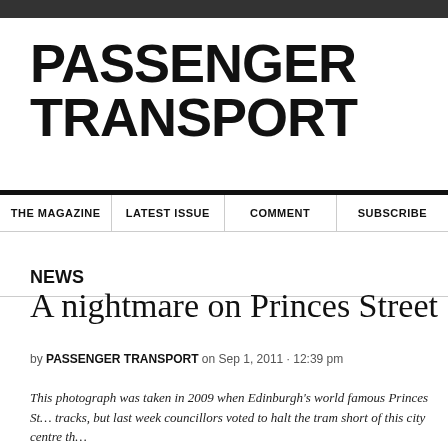PASSENGER TRANSPORT
THE MAGAZINE | LATEST ISSUE | COMMENT | SUBSCRIBE
NEWS
A nightmare on Princes Street
by PASSENGER TRANSPORT on Sep 1, 2011 · 12:39 pm
This photograph was taken in 2009 when Edinburgh's world famous Princes St... tracks, but last week councillors voted to halt the tram short of this city centre th...